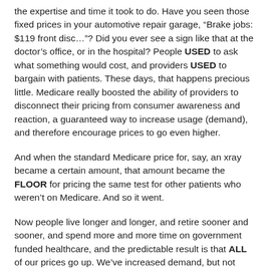the expertise and time it took to do. Have you seen those fixed prices in your automotive repair garage, “Brake jobs: $119 front disc…? Did you ever see a sign like that at the doctor’s office, or in the hospital? People USED to ask what something would cost, and providers USED to bargain with patients. These days, that happens precious little. Medicare really boosted the ability of providers to disconnect their pricing from consumer awareness and reaction, a guaranteed way to increase usage (demand), and therefore encourage prices to go even higher.
And when the standard Medicare price for, say, an xray became a certain amount, that amount became the FLOOR for pricing the same test for other patients who weren’t on Medicare. And so it went.
Now people live longer and longer, and retire sooner and sooner, and spend more and more time on government funded healthcare, and the predictable result is that ALL of our prices go up. We’ve increased demand, but not supply. It’s really pretty simple.
In addition, by regulating (FDA) the release of new